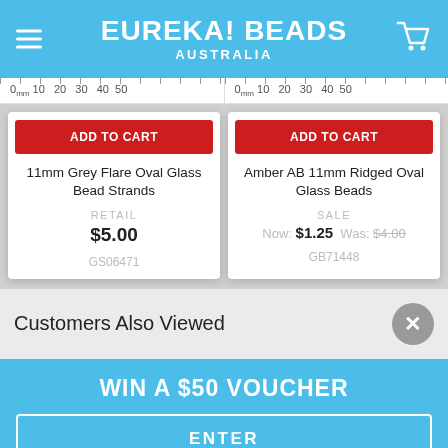EUREKA! BEADS AUSTRALIA
[Figure (screenshot): Ruler scale showing 0mm 10 20 30 40 50 repeated twice for two product panels]
ADD TO CART
ADD TO CART
11mm Grey Flare Oval Glass Bead Strands
Amber AB 11mm Ridged Oval Glass Beads
RETAIL
$5.00
GS06471
SALE
Now: $1.25  Was: $4.00
GB71448
Customers Also Viewed
WIN A $50 VOUCHER
ENTER